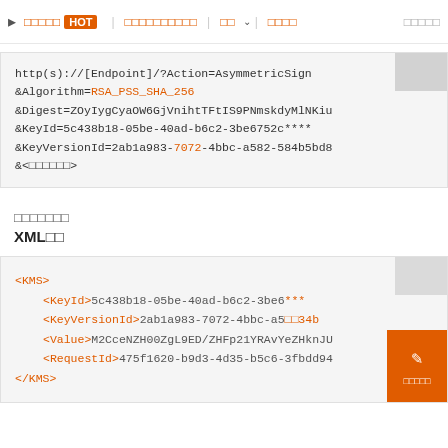▷ □□□□□ HOT | □□□□□□□□□□ | □□ ∨ | □□□□ | □□□□□
http(s)://[Endpoint]/?Action=AsymmetricSign&Algorithm=RSA_PSS_SHA_256&Digest=ZOyIygCyaOW6GjVnihtTFtIS9PNmskdyMlNKiu&KeyId=5c438b18-05be-40ad-b6c2-3be6752c****&KeyVersionId=2ab1a983-7072-4bbc-a582-584b5bd8&<□□□□□□>
□□□□□□□
XML□□
<KMS>
    <KeyId>5c438b18-05be-40ad-b6c2-3be6***
    <KeyVersionId>2ab1a983-7072-4bbc-a5□□34b
    <Value>M2CceNZH00ZgL9ED/ZHFp21YRAvYeZHknJU
    <RequestId>475f1620-b9d3-4d35-b5c6-3fbdd94
</KMS>